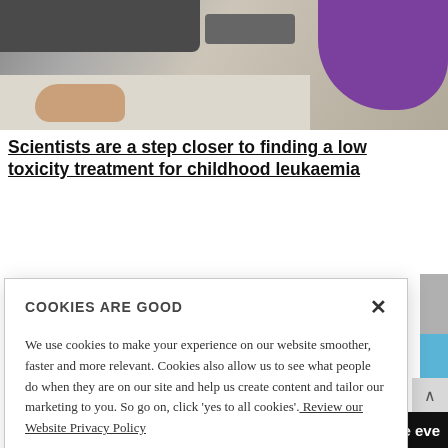[Figure (photo): Laboratory scene with person in purple sleeve and lab equipment in background]
Scientists are a step closer to finding a low toxicity treatment for childhood leukaemia
COOKIES ARE GOOD
We use cookies to make your experience on our website smoother, faster and more relevant. Cookies also allow us to see what people do when they are on our site and help us create content and tailor our marketing to you. So go on, click 'yes to all cookies'. Review our Website Privacy Policy
Yes to all cookies
Let me choose
Upcoming events
More eve